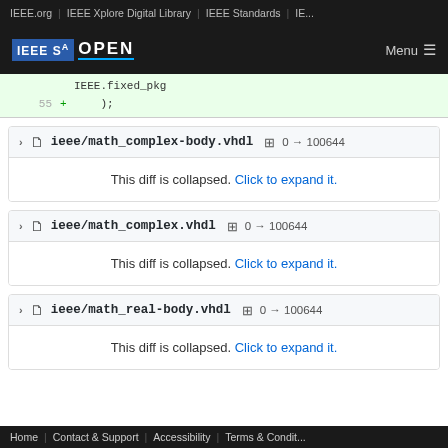IEEE.org | IEEE Xplore Digital Library | IEEE Standards | IE...
[Figure (screenshot): IEEE SA OPEN logo with dark navigation bar and Menu button]
IEEE.fixed_pkg
55 +     );
ieee/math_complex-body.vhdl  0 → 100644
This diff is collapsed. Click to expand it.
ieee/math_complex.vhdl  0 → 100644
This diff is collapsed. Click to expand it.
ieee/math_real-body.vhdl  0 → 100644
This diff is collapsed. Click to expand it.
Home | Contact & Support | Accessibility | Terms & Condit...